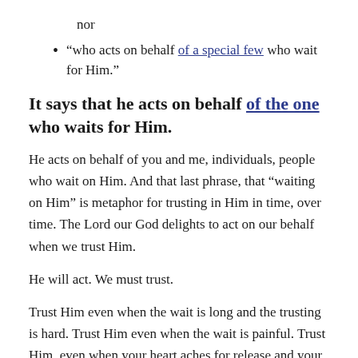nor
“who acts on behalf of a special few who wait for Him.”
It says that he acts on behalf of the one who waits for Him.
He acts on behalf of you and me, individuals, people who wait on Him. And that last phrase, that “waiting on Him” is metaphor for trusting in Him in time, over time. The Lord our God delights to act on our behalf when we trust Him.
He will act. We must trust.
Trust Him even when the wait is long and the trusting is hard. Trust Him even when the wait is painful. Trust Him, even when your heart aches for release and your questions multiply because there is no other God and on one besides Him who hears and acts on behalf of the one who waits for Him.